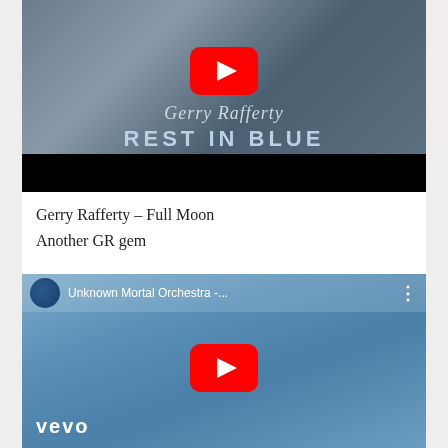[Figure (screenshot): YouTube video thumbnail for Gerry Rafferty - Full Moon, showing album art 'REST IN BLUE' with a YouTube play button overlay and black bar at bottom]
Gerry Rafferty – Full Moon
Another GR gem
[Figure (screenshot): YouTube video thumbnail for Unknown Mortal Orchestra showing animated child figure on blue background, with Vevo logo in bottom left and YouTube play button overlay]